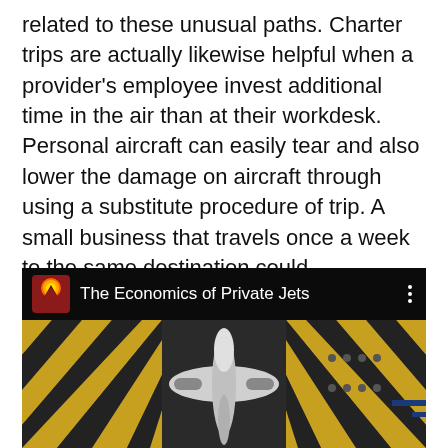related to these unusual paths. Charter trips are actually likewise helpful when a provider's employee invest additional time in the air than at their workdesk. Personal aircraft can easily tear and also lower the damage on aircraft through using a substitute procedure of trip. A small business that travels once a week to the same destination could conveniently capitalize on this service.
[Figure (screenshot): A video thumbnail or embedded video player showing a top-down view of a private jet on a tarmac with yellow and black striped markings. Overlay bar at top shows a mountain/sunset logo and title 'The Economics of Private Jets' with a three-dot menu icon.]